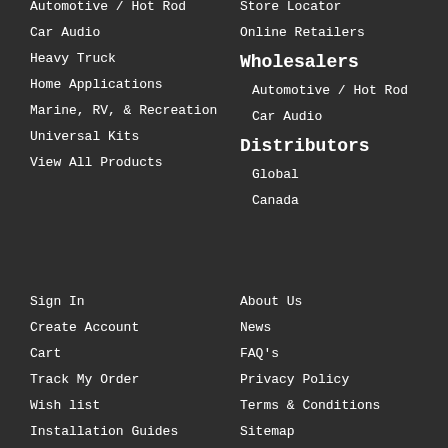Automotive / Hot Rod
Car Audio
Heavy Truck
Home Applications
Marine, RV, & Recreation
Universal Kits
View All Products
Store Locator
Online Retailers
Wholesalers
Automotive / Hot Rod
Car Audio
Distributors
Global
Canada
Sign In
Create Account
Cart
Track My Order
Wish list
Installation Guides
About Us
News
FAQ's
Privacy Policy
Terms & Conditions
Sitemap